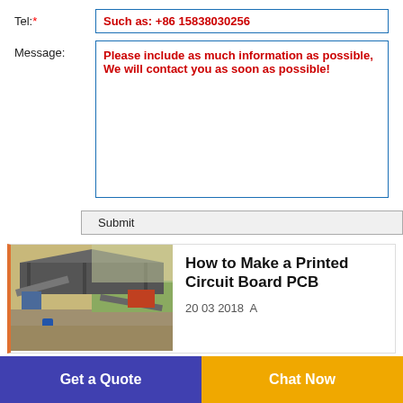Tel:* Such as: +86 15838030256
Message: Please include as much information as possible, We will contact you as soon as possible!
Submit
[Figure (photo): Outdoor industrial site with conveyor belts and heavy machinery under a large metal roof structure]
How to Make a Printed Circuit Board PCB
20 03 2018  A
Get a Quote
Chat Now